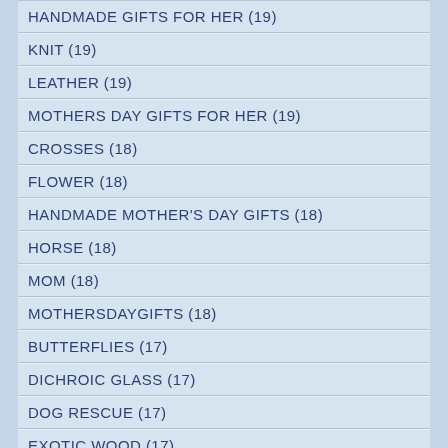HANDMADE GIFTS FOR HER (19)
KNIT (19)
LEATHER (19)
MOTHERS DAY GIFTS FOR HER (19)
CROSSES (18)
FLOWER (18)
HANDMADE MOTHER'S DAY GIFTS (18)
HORSE (18)
MOM (18)
MOTHERSDAYGIFTS (18)
BUTTERFLIES (17)
DICHROIC GLASS (17)
DOG RESCUE (17)
EXOTIC WOOD (17)
HEART (17)
LAVENDER (17)
LOVE (17)